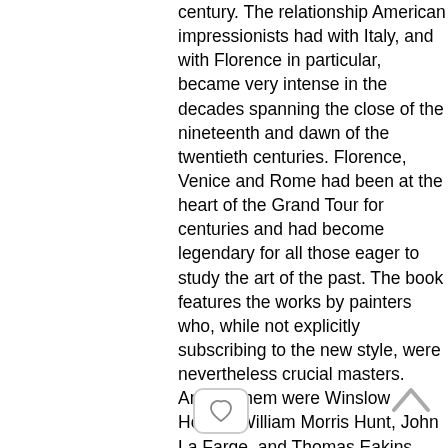century. The relationship American impressionists had with Italy, and with Florence in particular, became very intense in the decades spanning the close of the nineteenth and dawn of the twentieth centuries. Florence, Venice and Rome had been at the heart of the Grand Tour for centuries and had become legendary for all those eager to study the art of the past. The book features the works by painters who, while not explicitly subscribing to the new style, were nevertheless crucial masters. Among them were Winslow Homer, William Morris Hunt, John La Farge, and Thomas Eakins. They were to be followed by great precursors such as John Singer Sargent, Mary Cassatt, and James Abbott McNeill Whistler, who could lay claim to considerable cosmopolitism. A place of honor is reserved for those artists who spent time in Florence and who deserve to be better known. Their number includes the American impressionist group known as the Ten American Painters. Besides them, Frank Duveneck also played an important role in fostering relations between American and local artists.